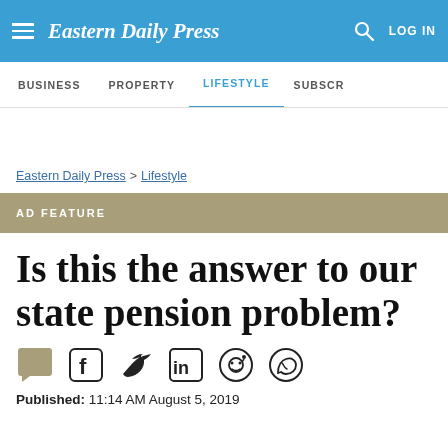Eastern Daily Press
BUSINESS  PROPERTY  LIFESTYLE  SUBSCR
Eastern Daily Press > Lifestyle
AD FEATURE
Is this the answer to our state pension problem?
Published: 11:14 AM August 5, 2019